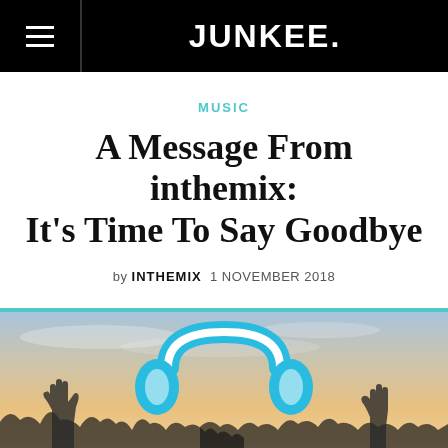JUNKEE.
MUSIC
A Message From inthemix: It’s Time To Say Goodbye
by INTHEMIX  1 NOVEMBER 2018
[Figure (photo): Hero image showing a blue headphones icon overlaid on a crowd scene with raised hands against a warm sunset sky]